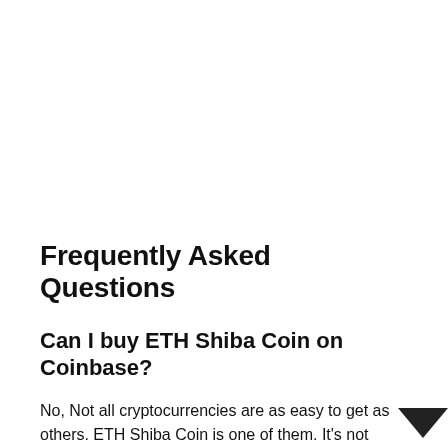Frequently Asked Questions
Can I buy ETH Shiba Coin on Coinbase?
No, Not all cryptocurrencies are as easy to get as others. ETH Shiba Coin is one of them. It's not